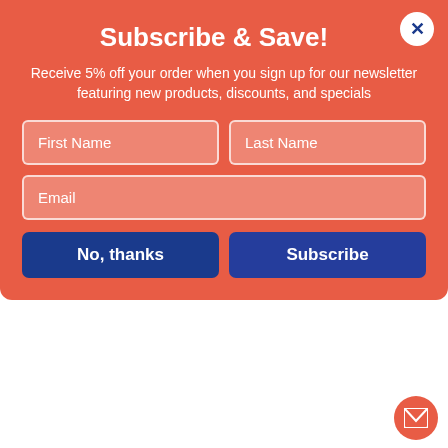Subscribe & Save!
Receive 5% off your order when you sign up for our newsletter featuring new products, discounts, and specials
[Figure (screenshot): Newsletter subscription form with First Name, Last Name, Email fields, and No thanks / Subscribe buttons on a coral/red background]
| Property | Value |
| --- | --- |
| Binding Edge Feature(s) | Double-Sided Gold Plastic Edge Reinforcing |
| Machine Compatibility | Inkjet Printers; Laser Printers |
| Form Quantity | 5 Sets |
| Pre-Consumer Recycled Content Percent | 0% |
| Post-Consumer Recycled Content Percent | 0% |
| Total Recycled Content | 0% |